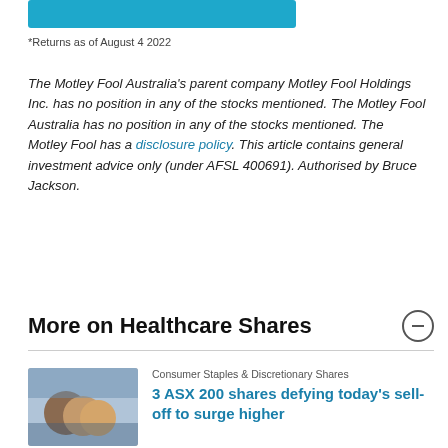[Figure (other): Blue button/bar element at top of page]
*Returns as of August 4 2022
The Motley Fool Australia's parent company Motley Fool Holdings Inc. has no position in any of the stocks mentioned. The Motley Fool Australia has no position in any of the stocks mentioned. The Motley Fool has a disclosure policy. This article contains general investment advice only (under AFSL 400691). Authorised by Bruce Jackson.
More on Healthcare Shares
Consumer Staples & Discretionary Shares
3 ASX 200 shares defying today's sell-off to surge higher